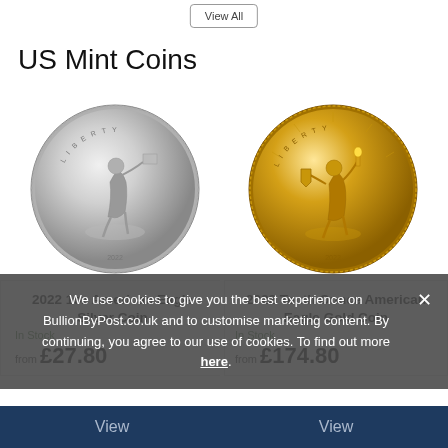View All
US Mint Coins
[Figure (photo): Silver coin - 2022 1oz American Eagle Silver Coin, showing Walking Liberty design]
[Figure (photo): Gold coin - 2022 Tenth Ounce American Eagle Gold Coin, showing Liberty standing design]
2022 1oz American Eagle Silver Coin
In Stock
from £27.80
2022 Tenth Ounce American Eagle Gold Coin
In Stock
from £174.80
We use cookies to give you the best experience on BullionByPost.co.uk and to customise marketing content. By continuing, you agree to our use of cookies. To find out more here.
View
View